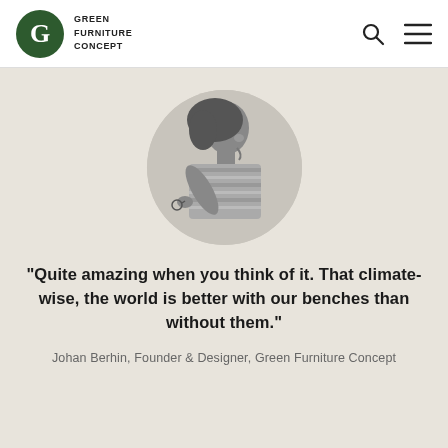G  GREEN FURNITURE CONCEPT
[Figure (photo): Circular black and white portrait photo of Johan Berhin, Founder and Designer of Green Furniture Concept, shown in side profile holding glasses, wearing a striped shirt]
"Quite amazing when you think of it. That climate-wise, the world is better with our benches than without them."
Johan Berhin, Founder & Designer, Green Furniture Concept